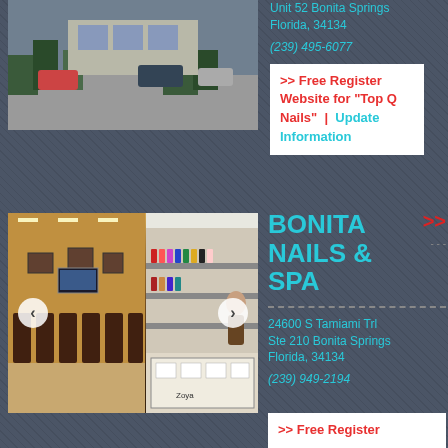[Figure (photo): Exterior parking lot photo of a nail salon]
Unit 52 Bonita Springs Florida, 34134
(239) 495-6077
>> Free Register Website for "Top Q Nails" | Update Information
[Figure (photo): Interior photos of Bonita Nails & Spa showing salon chairs and bar]
BONITA NAILS & SPA
24600 S Tamiami Trl Ste 210 Bonita Springs Florida, 34134
(239) 949-2194
>> Free Register